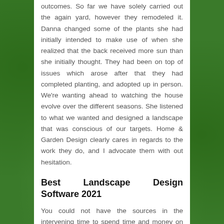outcomes. So far we have solely carried out the again yard, however they remodeled it. Danna changed some of the plants she had initially intended to make use of when she realized that the back received more sun than she initially thought. They had been on top of issues which arose after that they had completed planting, and adopted up in person. We're wanting ahead to watching the house evolve over the different seasons. She listened to what we wanted and designed a landscape that was conscious of our targets. Home & Garden Design clearly cares in regards to the work they do, and I advocate them with out hesitation.
Best Landscape Design Software 2021
You could not have the sources in the intervening time to spend time and money on landscaping.